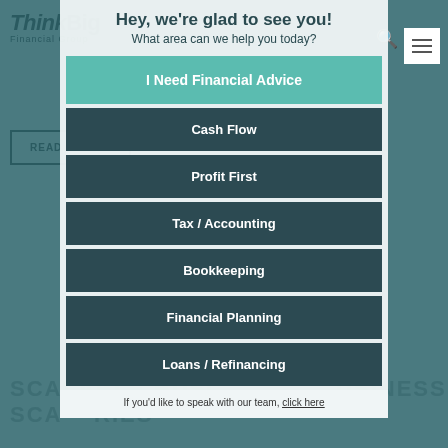Hey, we're glad to see you!
What area can we help you today?
I Need Financial Advice
Cash Flow
Profit First
Tax / Accounting
Bookkeeping
Financial Planning
Loans / Refinancing
If you'd like to speak with our team, click here